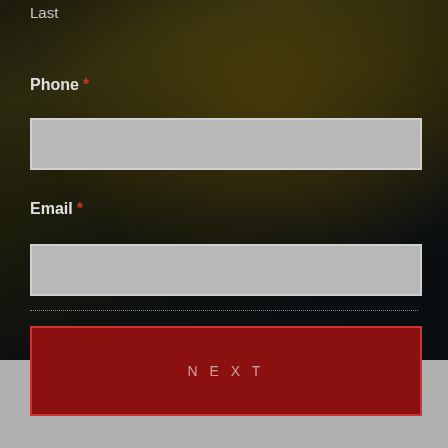Last
Phone *
[Figure (other): Empty phone input field, light gray rectangle]
Email *
[Figure (other): Empty email input field, light gray rectangle]
NEXT